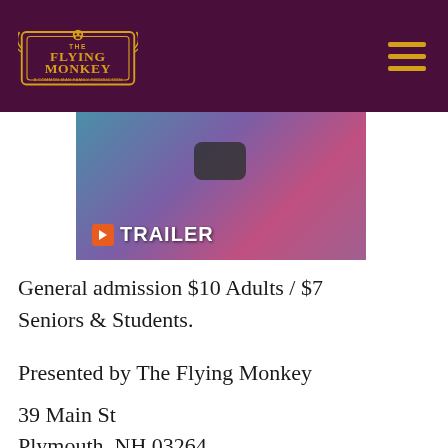The Flying Monkey — A Common Man Family Production
[Figure (screenshot): A movie trailer thumbnail with colorful background showing characters, with a play button and a TRAILER label with Fandango icon at bottom left]
General admission $10 Adults / $7 Seniors & Students.
Presented by The Flying Monkey
39 Main St
Plymouth, NH 03264
Event Information